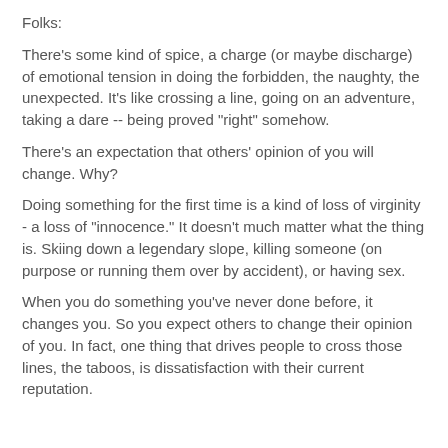Folks:
There's some kind of spice, a charge (or maybe discharge) of emotional tension in doing the forbidden, the naughty, the unexpected. It's like crossing a line, going on an adventure, taking a dare -- being proved "right" somehow.
There's an expectation that others' opinion of you will change. Why?
Doing something for the first time is a kind of loss of virginity - a loss of "innocence." It doesn't much matter what the thing is. Skiing down a legendary slope, killing someone (on purpose or running them over by accident), or having sex.
When you do something you've never done before, it changes you. So you expect others to change their opinion of you. In fact, one thing that drives people to cross those lines, the taboos, is dissatisfaction with their current reputation.